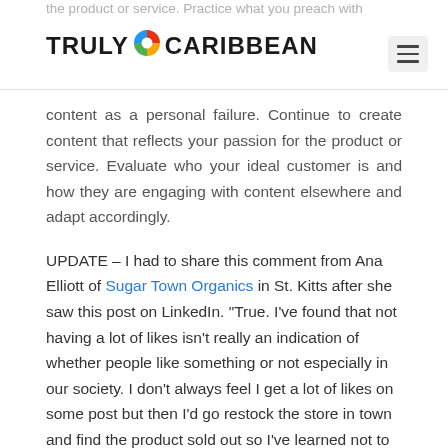the product or service. Practice what you preach with
[Figure (logo): Truly Caribbean logo with colorful circular icon between the words TRULY and CARIBBEAN, and a hamburger menu icon on the right]
content as a personal failure. Continue to create content that reflects your passion for the product or service. Evaluate who your ideal customer is and how they are engaging with content elsewhere and adapt accordingly.
UPDATE – I had to share this comment from Ana Elliott of Sugar Town Organics in St. Kitts after she saw this post on LinkedIn. “True. I’ve found that not having a lot of likes isn’t really an indication of whether people like something or not especially in our society. I don’t always feel I get a lot of likes on some post but then I’d go restock the store in town and find the product sold out so I’ve learned not to use Instagram as my only measuring stick so to speak.”